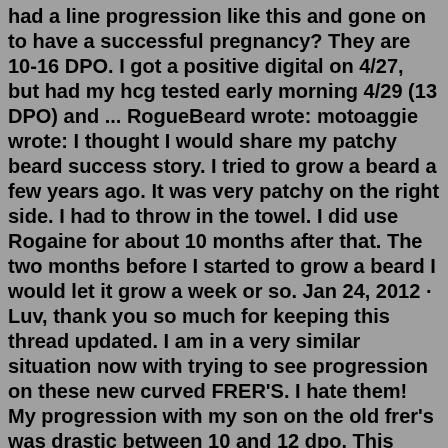had a line progression like this and gone on to have a successful pregnancy? They are 10-16 DPO. I got a positive digital on 4/27, but had my hcg tested early morning 4/29 (13 DPO) and ... RogueBeard wrote: motoaggie wrote: I thought I would share my patchy beard success story. I tried to grow a beard a few years ago. It was very patchy on the right side. I had to throw in the towel. I did use Rogaine for about 10 months after that. The two months before I started to grow a beard I would let it grow a week or so. Jan 24, 2012 · Luv, thank you so much for keeping this thread updated. I am in a very similar situation now with trying to see progression on these new curved FRER'S. I hate them! My progression with my son on the old frer's was drastic between 10 and 12 dpo. This time, the change is much more subtle and barely there....but that said, they look similar to yours. Apr 27, 2010 · The Cleveland Clinic also states that the systolic pressure gradient across the aortic valve can increase by as much as 10-15 mm Hg per year. Finally, a more rapid rate of aortic stenosis